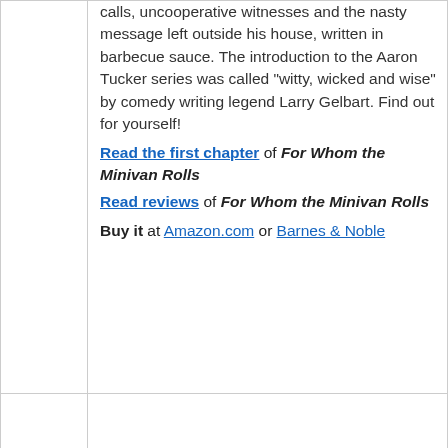calls, uncooperative witnesses and the nasty message left outside his house, written in barbecue sauce. The introduction to the Aaron Tucker series was called “witty, wicked and wise” by comedy writing legend Larry Gelbart. Find out for yourself!
Read the first chapter of For Whom the Minivan Rolls
Read reviews of For Whom the Minivan Rolls
Buy it at Amazon.com or Barnes & Noble
[Figure (illustration): Book cover for A Farewell to Legs: An Aaron Tucker series]
A Farewell to Legs: An Aaron Tucker